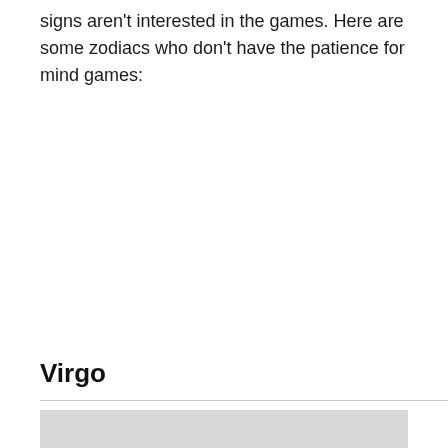signs aren't interested in the games. Here are some zodiacs who don't have the patience for mind games:
Virgo
[Figure (photo): A light gray image placeholder at the bottom of the page, partially visible.]